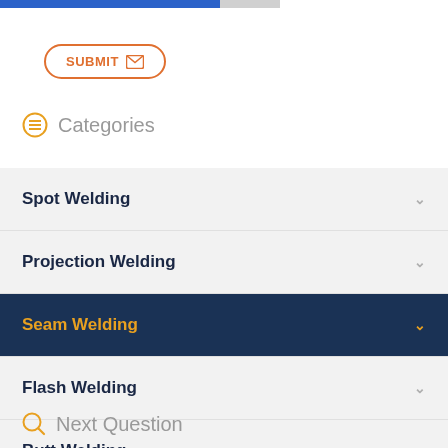[Figure (other): Progress bar at top of page, partially filled blue bar]
SUBMIT
Categories
Spot Welding
Projection Welding
Seam Welding
Flash Welding
Butt Welding
Controls & Transformers
Next Question